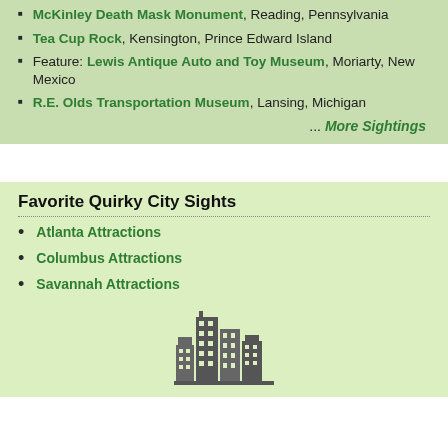McKinley Death Mask Monument, Reading, Pennsylvania
Tea Cup Rock, Kensington, Prince Edward Island
Feature: Lewis Antique Auto and Toy Museum, Moriarty, New Mexico
R.E. Olds Transportation Museum, Lansing, Michigan
... More Sightings
Favorite Quirky City Sights
Atlanta Attractions
Columbus Attractions
Savannah Attractions
[Figure (illustration): City skyline silhouette icon in dark gray showing buildings]